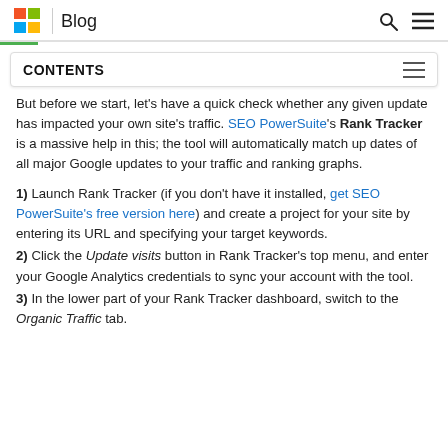Blog
CONTENTS
But before we start, let's have a quick check whether any given update has impacted your own site's traffic. SEO PowerSuite's Rank Tracker is a massive help in this; the tool will automatically match up dates of all major Google updates to your traffic and ranking graphs.
1) Launch Rank Tracker (if you don't have it installed, get SEO PowerSuite's free version here) and create a project for your site by entering its URL and specifying your target keywords.
2) Click the Update visits button in Rank Tracker's top menu, and enter your Google Analytics credentials to sync your account with the tool.
3) In the lower part of your Rank Tracker dashboard, switch to the Organic Traffic tab.